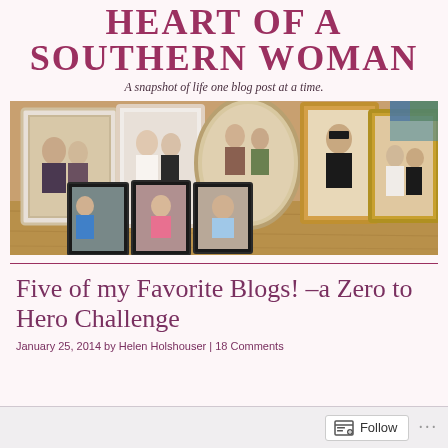HEART OF A SOUTHERN WOMAN
A snapshot of life one blog post at a time.
[Figure (photo): A collection of framed family photographs arranged on a wooden surface, showing various family members across different eras including wedding photos, portraits, and children's photos.]
Five of my Favorite Blogs! –a Zero to Hero Challenge
January 25, 2014 by Helen Holshouser | 18 Comments
Follow